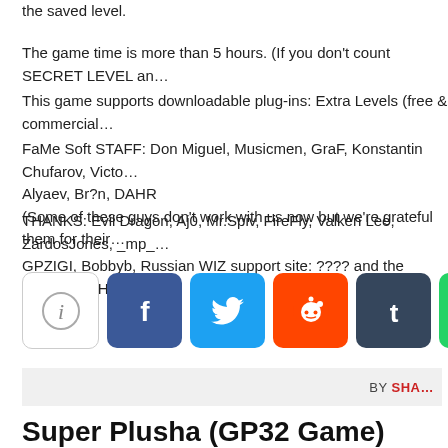the saved level.
The game time is more than 5 hours. (If you don't count SECRET LEVEL an…
This game supports downloadable plug-ins: Extra Levels (free & commercial…
FaMe Soft STAFF: Don Miguel, Musicmen, GraF, Konstantin Chufarov, Victo… Alyaev, Br?n, DAHR
(Some of these guys don't work with us now but we're grateful them for their…
THANKS: Evil Dragon, Aj0, Mr.Spiv, FireFly, Valken Lee, ZardosJones, _mp_… GPZIGI, Bobbyb, Russian WIZ support site: ???? and the GamePark Holdin… support.
[Figure (infographic): Row of social share buttons: info (i), Facebook, Twitter, Reddit, Tumblr, WhatsApp]
BY SHA…
Super Plusha (GP32 Game)